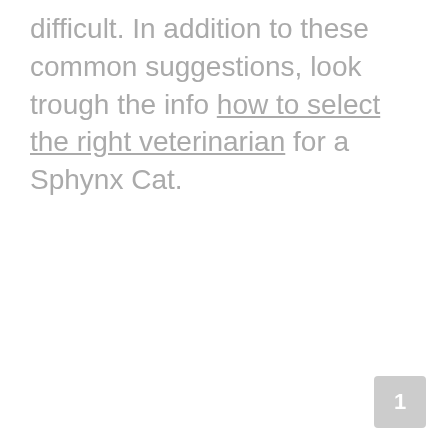difficult. In addition to these common suggestions, look trough the info how to select the right veterinarian for a Sphynx Cat.
1